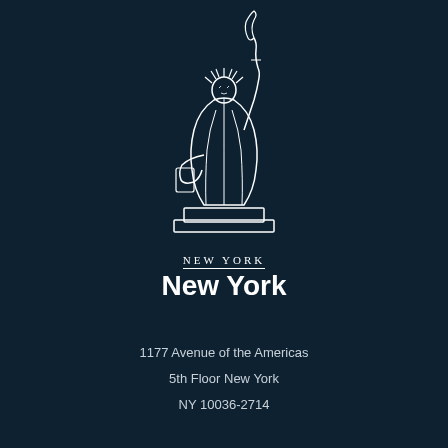[Figure (illustration): White line-art illustration of the Statue of Liberty on a dark navy background, with 'NEW YORK' text and a horizontal rule beneath it]
New York
1177 Avenue of the Americas
5th Floor New York
NY 10036-2714